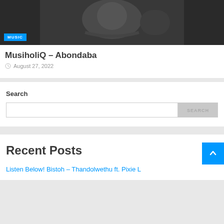[Figure (photo): Dark grayscale photo of sleeping newborn baby with bow, with a blue MUSIC badge overlay in the bottom left]
MusiholiQ – Abondaba
August 27, 2022
Search
Search input field with SEARCH button
Recent Posts
Listen Below! Bistoh – Thandolwethu ft. Pixie L